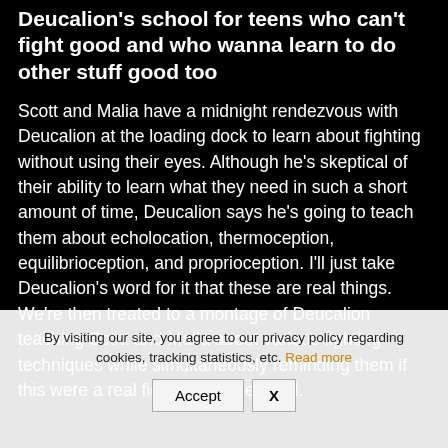Deucalion's school for teens who can't fight good and who wanna learn to do other stuff good too
Scott and Malia have a midnight rendezvous with Deucalion at the loading dock to learn about fighting without using their eyes. Although he's skeptical of their ability to learn what they need in such a short amount of time, Deucalion says he's going to teach them about echolocation, thermoception, equilibrioception, and proprioception. I'll just take Deucalion's word for it that these are real things. We're then treated to a montage of Deucalion teaching Scott and Malia about various fighting techniques while simultaneously reminding them if this were a real fight, they'd be dead.
By visiting our site, you agree to our privacy policy regarding cookies, tracking statistics, etc. Read more
Accept
X